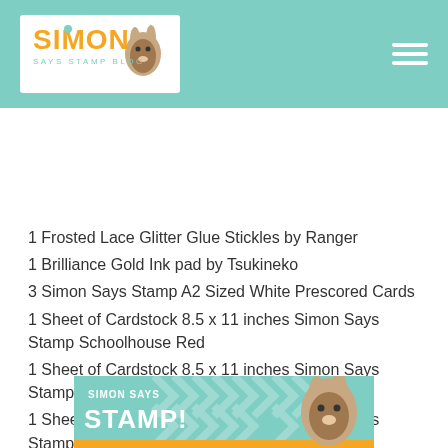Simon Says Stamp Blog header with logo and navigation
1 Frosted Lace Glitter Glue Stickles by Ranger
1 Brilliance Gold Ink pad by Tsukineko
3 Simon Says Stamp A2 Sized White Prescored Cards
1 Sheet of Cardstock 8.5 x 11 inches Simon Says Stamp Schoolhouse Red
1 Sheet of Cardstock 8.5 x 11 inches Simon Says Stamp Cream
1 Sheet of Cardstock 8.5 x 11 inches Simon Says Stamp Black
1 Sheet of Cardstock 8.5 x 11 inches Simon Says Stamp Green
Isn't the new stamp set that is being released with the kit amazing!?
[Figure (logo): Simon Says Stamp banner advertisement with teal background, chevron pattern, orange bottom bar, and rabbit mascot illustration]